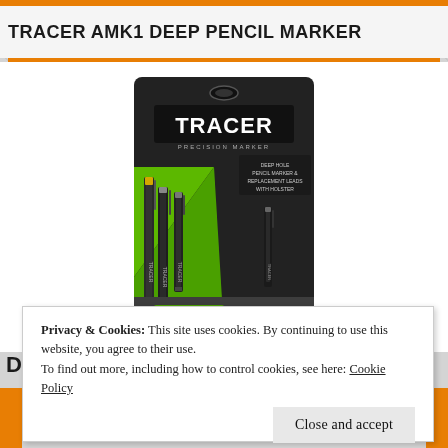TRACER AMK1 DEEP PENCIL MARKER
[Figure (photo): Product photo of Tracer AMK1 Deep Pencil Marker set in retail packaging — black and green blister card showing multiple pencil markers with the TRACER brand name prominently displayed]
Privacy & Cookies: This site uses cookies. By continuing to use this website, you agree to their use.
To find out more, including how to control cookies, see here: Cookie Policy
Close and accept
DE